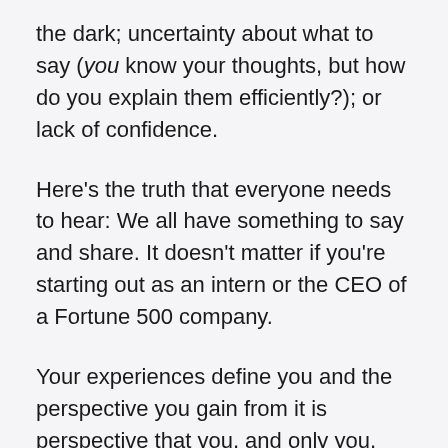the dark; uncertainty about what to say (you know your thoughts, but how do you explain them efficiently?); or lack of confidence.
Here's the truth that everyone needs to hear: We all have something to say and share. It doesn't matter if you're starting out as an intern or the CEO of a Fortune 500 company.
Your experiences define you and the perspective you gain from it is perspective that you, and only you, have the ability to share.